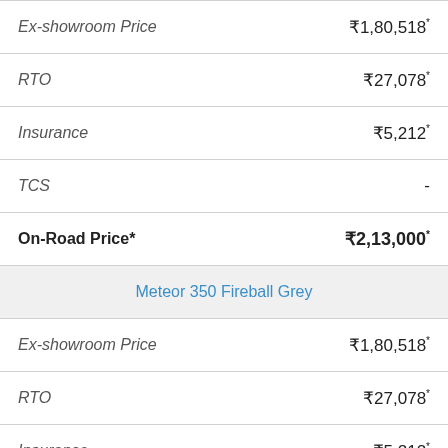| Item | Price |
| --- | --- |
| Ex-showroom Price | ₹1,80,518* |
| RTO | ₹27,078* |
| Insurance | ₹5,212* |
| TCS | - |
| On-Road Price* | ₹2,13,000* |
| Meteor 350 Fireball Grey |  |
| Ex-showroom Price | ₹1,80,518* |
| RTO | ₹27,078* |
| Insurance | ₹5,212* |